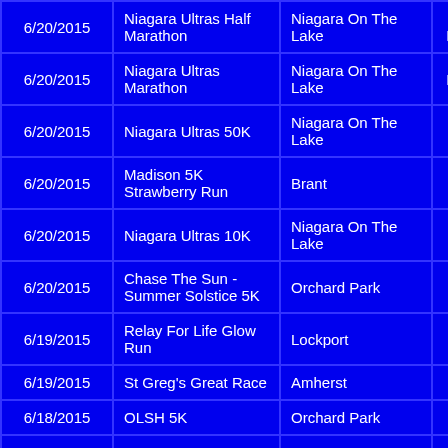| Date | Event | Location | Distance |  |
| --- | --- | --- | --- | --- |
| 6/20/2015 | Niagara Ultras Half Marathon | Niagara On The Lake | Half Marathon |  |
| 6/20/2015 | Niagara Ultras Marathon | Niagara On The Lake | Marathon |  |
| 6/20/2015 | Niagara Ultras 50K | Niagara On The Lake | 50K |  |
| 6/20/2015 | Madison 5K Strawberry Run | Brant | 5K |  |
| 6/20/2015 | Niagara Ultras 10K | Niagara On The Lake | 10K |  |
| 6/20/2015 | Chase The Sun - Summer Solstice 5K | Orchard Park | 5K |  |
| 6/19/2015 | Relay For Life Glow Run | Lockport | 5K |  |
| 6/19/2015 | St Greg's Great Race | Amherst | 5K |  |
| 6/18/2015 | OLSH 5K | Orchard Park | 5K |  |
|  | Buffalo |  |  |  |